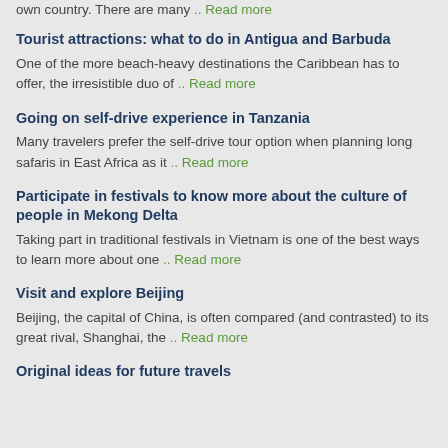own country. There are many .. Read more
Tourist attractions: what to do in Antigua and Barbuda
One of the more beach-heavy destinations the Caribbean has to offer, the irresistible duo of .. Read more
Going on self-drive experience in Tanzania
Many travelers prefer the self-drive tour option when planning long safaris in East Africa as it .. Read more
Participate in festivals to know more about the culture of people in Mekong Delta
Taking part in traditional festivals in Vietnam is one of the best ways to learn more about one .. Read more
Visit and explore Beijing
Beijing, the capital of China, is often compared (and contrasted) to its great rival, Shanghai, the .. Read more
Original ideas for future travels